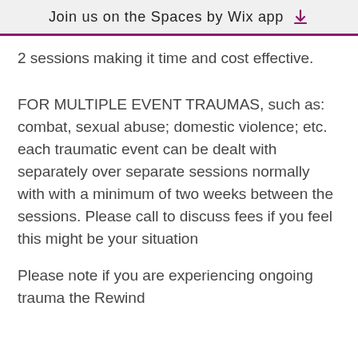Join us on the Spaces by Wix app
2 sessions making it time and cost effective.
FOR MULTIPLE EVENT TRAUMAS, such as: combat, sexual abuse; domestic violence; etc. each traumatic event can be dealt with separately over separate sessions normally with with a minimum of two weeks between the sessions. Please call to discuss fees if you feel this might be your situation
Please note if you are experiencing ongoing trauma the Rewind